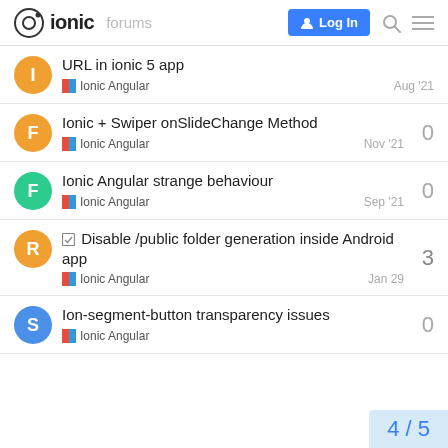Ionic forums | Log In
URL in ionic 5 app | Ionic Angular | Aug '21
Ionic + Swiper onSlideChange Method | Ionic Angular | Nov '21 | replies: 0
Ionic Angular strange behaviour | Ionic Angular | Sep '21 | replies: 0
☑ Disable /public folder generation inside Android app | Ionic Angular | Jan 29 | replies: 3
Ion-segment-button transparency issues | Ionic Angular | replies: 0
4 / 5